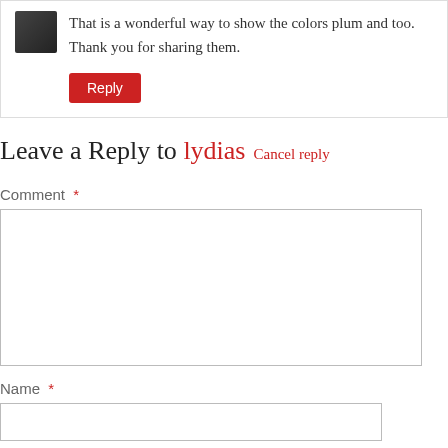That is a wonderful way to show the colors plum and too. Thank you for sharing them.
Reply
Leave a Reply to lydias Cancel reply
Comment *
Name *